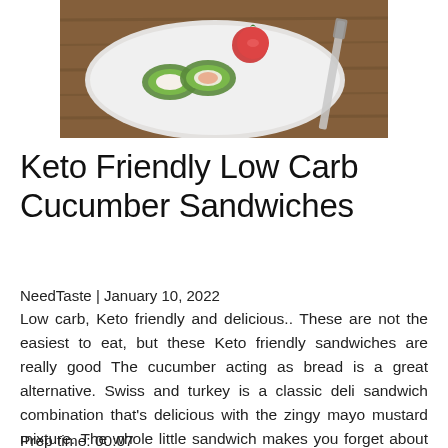[Figure (photo): Food photo showing cucumber sandwiches/rolls on a white plate with tomatoes, on a wooden surface with a knife]
Keto Friendly Low Carb Cucumber Sandwiches
NeedTaste | January 10, 2022
Low carb, Keto friendly and delicious.. These are not the easiest to eat, but these Keto friendly sandwiches are really good The cucumber acting as bread is a great alternative. Swiss and turkey is a classic deli sandwich combination that's delicious with the zingy mayo mustard mixture. The whole little sandwich makes you forget about watching carbs. We found slicing the cucumber into smaller pieces (like sushi) the easiest way to eat these.
Prep time: 00:07